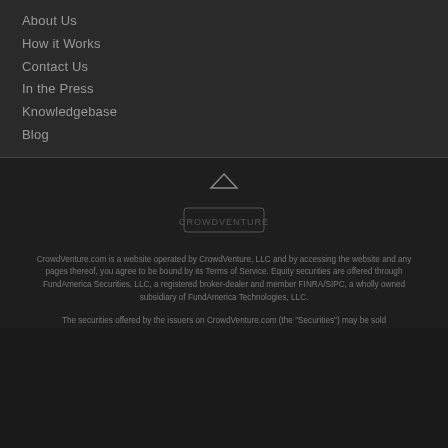About Us
How it Works
Contact Us
In the Press
Knowledgebase
Blog
CrowdVenture.com is a website operated by CrowdVenture, LLC and by accessing the website and any pages thereof, you agree to be bound by its Terms of Service. Equity securities are offered through FundAmerica Securities, LLC, a registered broker-dealer and member FINRA/SIPC, a wholly owned subsidiary of FundAmerica Technologies, LLC.
The securities offered by the issuers on CrowdVenture.com (the "Securities") may be sold